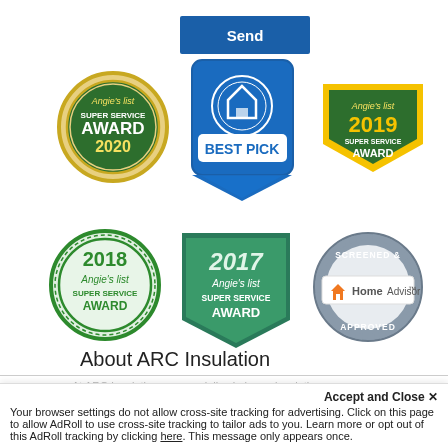[Figure (logo): Blue 'Send' button]
[Figure (logo): Angie's List Super Service Award 2020 gold circular badge]
[Figure (logo): Best Pick blue badge with house icon]
[Figure (logo): Angie's List Super Service Award 2019 gold shield badge]
[Figure (logo): Angie's List Super Service Award 2018 green circular badge]
[Figure (logo): Angie's List Super Service Award 2017 green shield badge]
[Figure (logo): HomeAdvisor Screened and Approved badge]
About ARC Insulation
Your browser settings do not allow cross-site tracking for advertising. Click on this page to allow AdRoll to use cross-site tracking to tailor ads to you. Learn more or opt out of this AdRoll tracking by clicking here. This message only appears once.